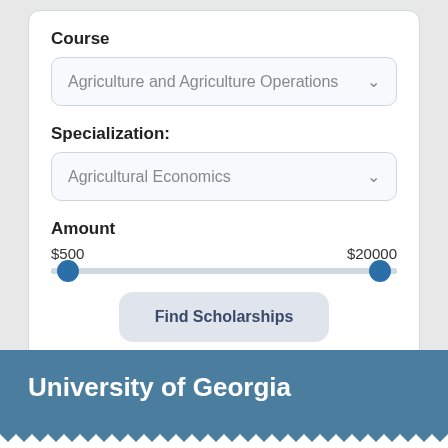Course
[Figure (screenshot): Dropdown selector showing 'Agriculture and Agriculture Operations']
Specialization:
[Figure (screenshot): Dropdown selector showing 'Agricultural Economics']
Amount
[Figure (infographic): Range slider with min $500 and max $20000, left and right handles at respective ends]
Find Scholarships
University of Georgia